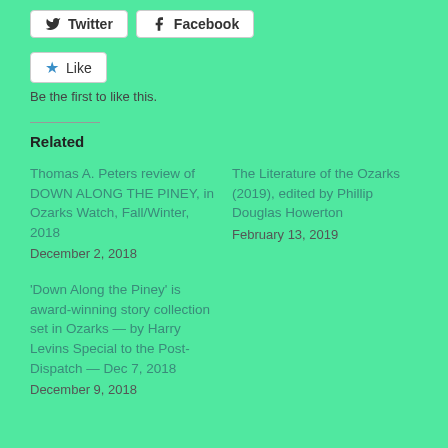[Figure (other): Social share buttons: Twitter and Facebook]
[Figure (other): Like button with star icon]
Be the first to like this.
Related
Thomas A. Peters review of DOWN ALONG THE PINEY, in Ozarks Watch, Fall/Winter, 2018
December 2, 2018
The Literature of the Ozarks (2019), edited by Phillip Douglas Howerton
February 13, 2019
'Down Along the Piney' is award-winning story collection set in Ozarks — by Harry Levins Special to the Post-Dispatch — Dec 7, 2018
December 9, 2018